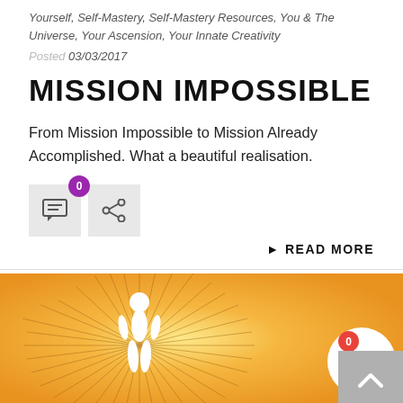Yourself, Self-Mastery, Self-Mastery Resources, You & The Universe, Your Ascension, Your Innate Creativity
Posted 03/03/2017
MISSION IMPOSSIBLE
From Mission Impossible to Mission Already Accomplished. What a beautiful realisation.
[Figure (screenshot): Comment icon button with purple badge showing 0, and share icon button]
▶ READ MORE
[Figure (illustration): Orange/yellow gradient banner with radiant sun lines and white human silhouette figure at center, cart icon with red badge showing 0 at bottom right]